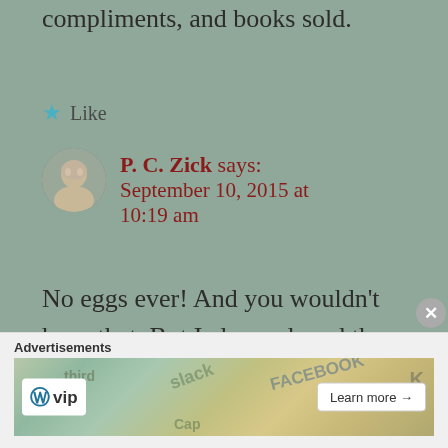compliments, and books sold.
Like
P. C. Zick says: September 10, 2015 at 10:19 am
No eggs ever! And you wouldn't have that. But I always loved the folks who picked up my book, flipped through the pages, talked to me for a long time while
[Figure (other): WordPress VIP advertisement banner with colorful book/social media themed background and Learn more button]
Advertisements